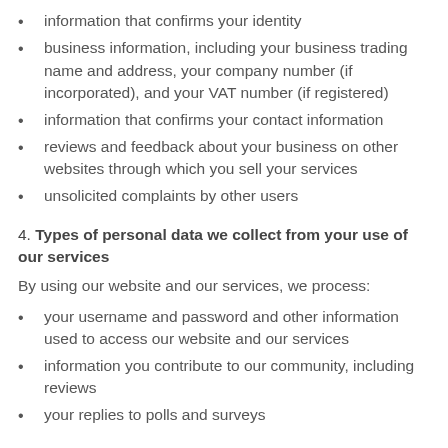information that confirms your identity
business information, including your business trading name and address, your company number (if incorporated), and your VAT number (if registered)
information that confirms your contact information
reviews and feedback about your business on other websites through which you sell your services
unsolicited complaints by other users
4. Types of personal data we collect from your use of our services
By using our website and our services, we process:
your username and password and other information used to access our website and our services
information you contribute to our community, including reviews
your replies to polls and surveys